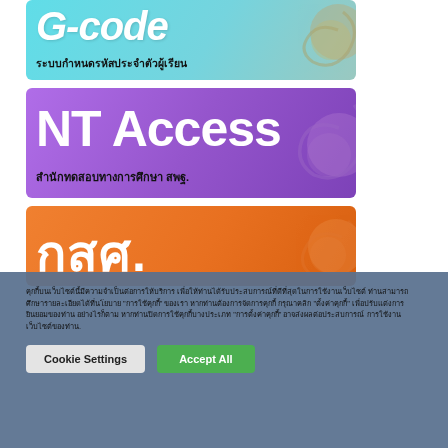[Figure (illustration): Cyan banner with stylized 'G-code' text and Thai subtitle 'ระบบกำหนดรหัสประจำตัวผู้เรียน' with decorative swirl graphic]
[Figure (illustration): Purple banner with 'NT Access' text and Thai subtitle 'สำนักทดสอบทางการศึกษา สพฐ.' with decorative swirl graphic]
[Figure (illustration): Orange banner with Thai text 'กสศ.' in large white letters with decorative swirl graphic]
คุกกี้บนเว็บไซต์นี้มีความจำเป็นต่อการให้บริการ เพื่อให้ท่านได้รับประสบการณ์ที่ดีที่สุดในการใช้งานเว็บไซต์ ท่านสามารถศึกษารายละเอียดได้ที่นโยบาย "การใช้คุกกี้" ของเรา หากท่านต้องการจัดการคุกกี้ กรุณาคลิก "ตั้งค่าคุกกี้" เพื่อปรับแต่งการยินยอมของท่าน
Cookie Settings | Accept All